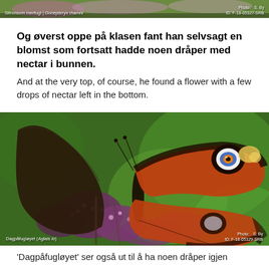[Figure (photo): Top strip showing a yellow butterfly on purple flowers, with label 'Sitronsom merfugl | Gonepteryx rhamni' and photo credit 'Photo: S. By, ID: F-18-05327-SRB']
Og øverst oppe på klasen fant han selvsagt en blomst som fortsatt hadde noen dråper med nectar i bunnen.
And at the very top, of course, he found a flower with a few drops of nectar left in the bottom.
[Figure (photo): Close-up photo of a European Peacock butterfly (Dagpåfugløyet / Aglais io) with vivid orange-red wings with eye markings, resting on purple/pink flowers against a green background. Photo credit: S. By, ID: F-18-05329-SRB]
'Dagpåfugløyet' ser også ut til å ha noen dråper igjen